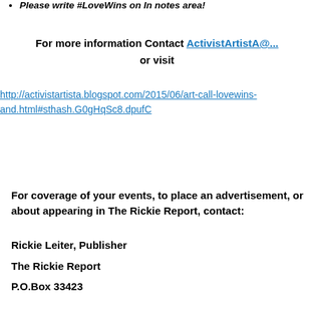Please write #LoveWins on In notes area!
For more information Contact ActivistArtistA@... or visit http://activistartista.blogspot.com/2015/06/art-call-lovewins-and.html#sthash.G0gHqSc8.dpufC
For coverage of your events, to place an advertisement, or about appearing in The Rickie Report, contact:
Rickie Leiter, Publisher
The Rickie Report
P.O.Box 33423